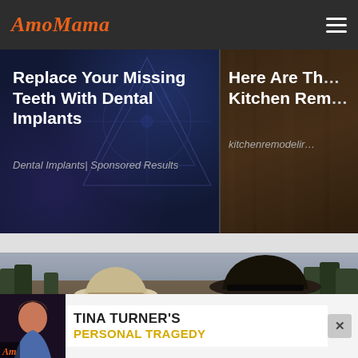AmoMama
[Figure (photo): Advertisement banner: Replace Your Missing Teeth With Dental Implants - Dental Implants| Sponsored Results]
[Figure (photo): Advertisement banner (partially visible): Here Are The... Kitchen Rem... kitchenremodelir...]
[Figure (photo): Photo of two men wearing cowboy hats outdoors, one in a tan/orange jacket on the left and one in a dark jacket on the right, from what appears to be the TV show Yellowstone]
[Figure (photo): Bottom advertisement banner: Tina Turner's Personal Tragedy, with a photo of a woman on the left and AmoMama logo]